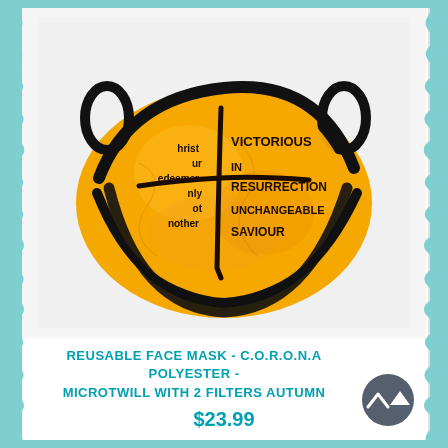[Figure (photo): A yellow-orange tie-dye fabric reusable face mask with black trim ear loops. Printed on the mask is a cross shape. Along the left arm of the cross reads: Christ, Our, Redeemer, Only, Not, Another. Along the right arm reads: VICTORIOUS, IN, RESURRECTION, UNCHANGEABLE, SAVIOUR — forming the acronym C.O.R.O.N.A.]
REUSABLE FACE MASK - C.O.R.O.N.A POLYESTER - MICROTWILL WITH 2 FILTERS AUTUMN
$23.99